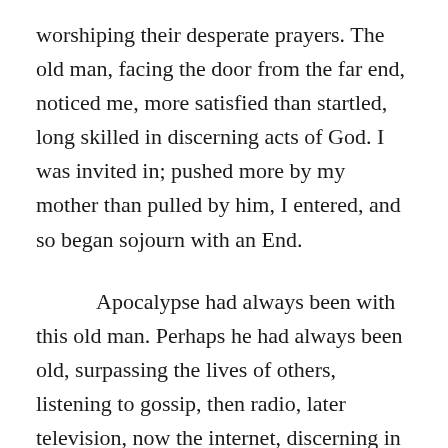worshiping their desperate prayers. The old man, facing the door from the far end, noticed me, more satisfied than startled, long skilled in discerning acts of God. I was invited in; pushed more by my mother than pulled by him, I entered, and so began sojourn with an End.
Apocalypse had always been with this old man. Perhaps he had always been old, surpassing the lives of others, listening to gossip, then radio, later television, now the internet, discerning in daily reports our immanent End, snuffing out false progress which is the Lie, escaping the shackles of knowledge through the